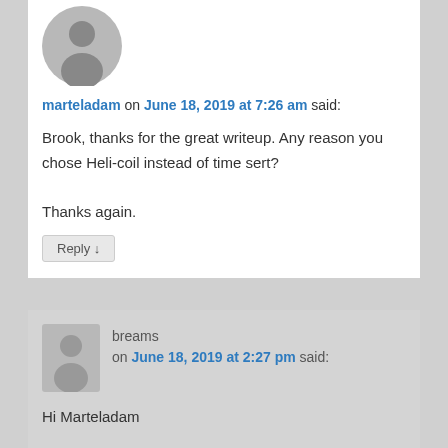[Figure (illustration): Default user avatar (grey circle silhouette)]
marteladam on June 18, 2019 at 7:26 am said:
Brook, thanks for the great writeup. Any reason you chose Heli-coil instead of time sert?

Thanks again.
Reply ↓
[Figure (illustration): Default user avatar (grey silhouette, smaller)]
breams on June 18, 2019 at 2:27 pm said:
Hi Marteladam

Yes, it is recommended for this application by several very knowledgeable airhead mechanics, and it is what is supplied by North Woods with the tool. The Timesert type repair has a “top hat” and a small